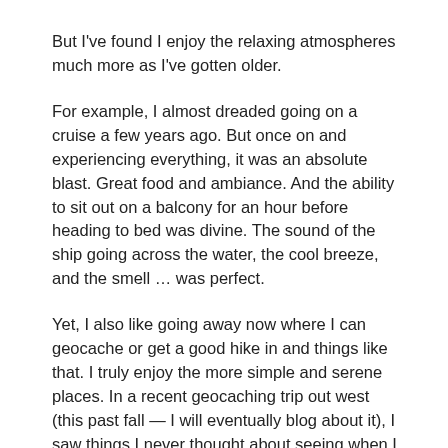But I've found I enjoy the relaxing atmospheres much more as I've gotten older.
For example, I almost dreaded going on a cruise a few years ago. But once on and experiencing everything, it was an absolute blast. Great food and ambiance. And the ability to sit out on a balcony for an hour before heading to bed was divine. The sound of the ship going across the water, the cool breeze, and the smell … was perfect.
Yet, I also like going away now where I can geocache or get a good hike in and things like that. I truly enjoy the more simple and serene places. In a recent geocaching trip out west (this past fall — I will eventually blog about it), I saw things I never thought about seeing when I was younger. National and state parks are places I love to explore and investigate.